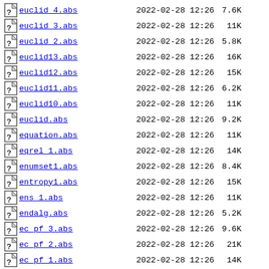euclid 4.abs  2022-02-28 12:26  7.6K
euclid 3.abs  2022-02-28 12:26  11K
euclid 2.abs  2022-02-28 12:26  5.8K
euclid13.abs  2022-02-28 12:26  16K
euclid12.abs  2022-02-28 12:26  15K
euclid11.abs  2022-02-28 12:26  6.2K
euclid10.abs  2022-02-28 12:26  11K
euclid.abs  2022-02-28 12:26  9.2K
equation.abs  2022-02-28 12:26  11K
eqrel 1.abs  2022-02-28 12:26  14K
enumset1.abs  2022-02-28 12:26  8.4K
entropy1.abs  2022-02-28 12:26  15K
ens 1.abs  2022-02-28 12:26  11K
endalg.abs  2022-02-28 12:26  5.2K
ec pf 3.abs  2022-02-28 12:26  9.6K
ec pf 2.abs  2022-02-28 12:26  21K
ec pf 1.abs  2022-02-28 12:26  14K